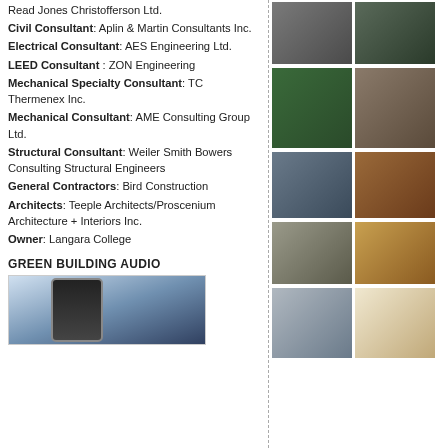Read Jones Christofferson Ltd.
Civil Consultant: Aplin & Martin Consultants Inc.
Electrical Consultant: AES Engineering Ltd.
LEED Consultant : ZON Engineering
Mechanical Specialty Consultant: TC Thermenex Inc.
Mechanical Consultant: AME Consulting Group Ltd.
Structural Consultant: Weiler Smith Bowers Consulting Structural Engineers
General Contractors: Bird Construction
Architects: Teeple Architects/Proscenium Architecture + Interiors Inc.
Owner: Langara College
GREEN BUILDING AUDIO
[Figure (photo): Hand holding a smartphone with city buildings in background]
[Figure (photo): Industrial building exterior]
[Figure (photo): Outdoor scene with trees and parking]
[Figure (photo): Electric vehicle charging spot painted on parking floor]
[Figure (photo): Interior architectural detail with striped ceiling]
[Figure (photo): Interior with colorful geometric window pattern]
[Figure (photo): Exterior of modern building with horizontal lines]
[Figure (photo): Interior laboratory or kitchen with white equipment]
[Figure (photo): Interior architectural ceiling detail with diagonal stripes]
[Figure (photo): Interior open bright space]
[Figure (photo): Interior curved staircase or atrium]